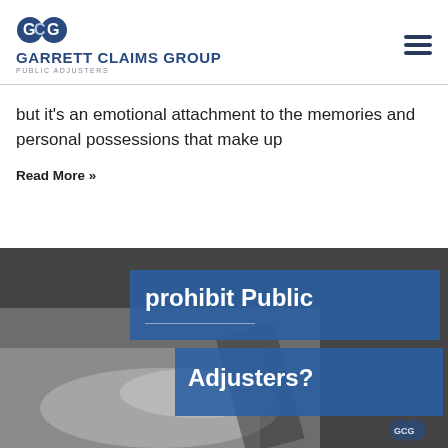[Figure (logo): Garrett Claims Group Public Adjusters logo with GCG monogram in blue]
but it's an emotional attachment to the memories and personal possessions that make up
Read More »
[Figure (photo): Black and white photo of hands signing documents with blue overlay text reading 'prohibit Public Adjusters?' and Garrett Claims Group logo watermark]